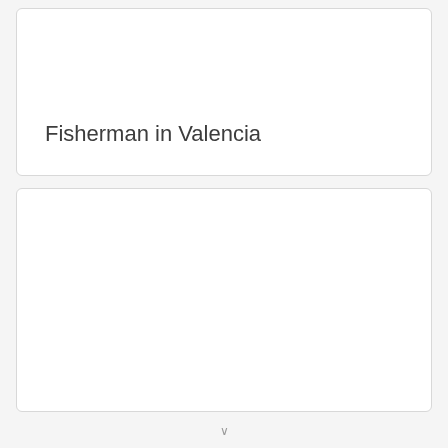Fisherman in Valencia
[Figure (photo): Empty white card placeholder for an image (bottom card)]